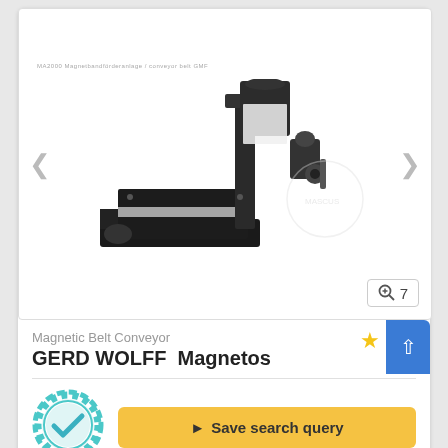[Figure (photo): Magnetic Belt Conveyor machine by GERD WOLFF Magnetos, shown in black with mechanical arm and roller assembly]
Magnetic Belt Conveyor
GERD WOLFF  Magnetos
Save search query